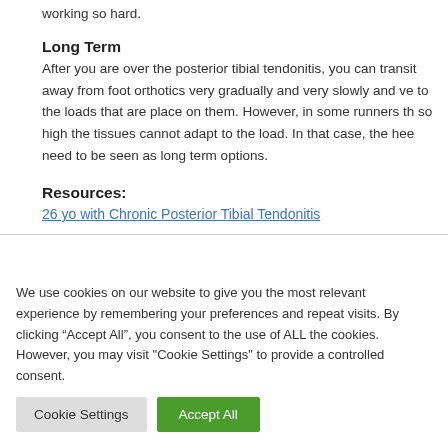working so hard.
Long Term
After you are over the posterior tibial tendonitis, you can transit away from foot orthotics very gradually and very slowly and ve to the loads that are place on them. However, in some runners th so high the tissues cannot adapt to the load. In that case, the hee need to be seen as long term options.
Resources:
26 yo with Chronic Posterior Tibial Tendonitis
We use cookies on our website to give you the most relevant experience by remembering your preferences and repeat visits. By clicking “Accept All”, you consent to the use of ALL the cookies. However, you may visit "Cookie Settings" to provide a controlled consent.